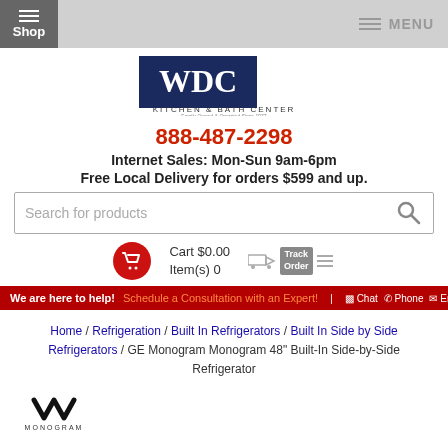Shop | MENU
[Figure (logo): WDC Kitchen & Bath Center logo with dark blue background and white text]
888-487-2298
Internet Sales: Mon-Sun 9am-6pm
Free Local Delivery for orders $599 and up.
Search for products
Cart $0.00
Item(s) 0
We are here to help! Schedule a Consultation with an Expert! | Chat | Phone | Email
Home / Refrigeration / Built In Refrigerators / Built In Side by Side Refrigerators / GE Monogram Monogram 48" Built-In Side-by-Side Refrigerator
[Figure (logo): GE Monogram logo — black M shape with MONOGRAM text below]